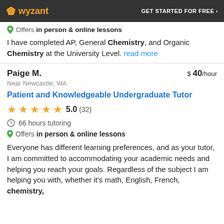wyzant — GET STARTED FOR FREE ›
Offers in person & online lessons
I have completed AP, General Chemistry, and Organic Chemistry at the University Level. read more
Paige M. — $ 40/hour
Near Newcastle, WA
Patient and Knowledgeable Undergraduate Tutor
5.0 (32)
66 hours tutoring
Offers in person & online lessons
Everyone has different learning preferences, and as your tutor, I am committed to accommodating your academic needs and helping you reach your goals. Regardless of the subject I am helping you with, whether it's math, English, French, chemistry,